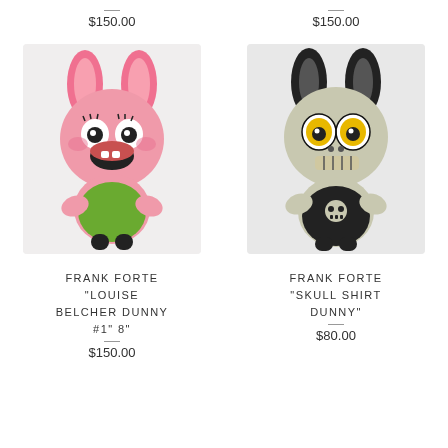$150.00
$150.00
[Figure (photo): Pink bunny-eared Dunny vinyl figure with green shirt, open mouth, by Frank Forte — Louise Belcher Dunny]
[Figure (photo): Black and grey bunny-eared Dunny vinyl figure with skull shirt, large yellow eyes, by Frank Forte — Skull Shirt Dunny]
FRANK FORTE "LOUISE BELCHER DUNNY #1" 8"
FRANK FORTE "SKULL SHIRT DUNNY"
$150.00
$80.00